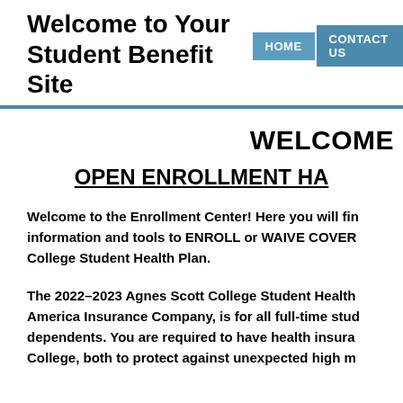Welcome to Your Student Benefit Site | HOME | CONTACT US
WELCOME
OPEN ENROLLMENT HA
Welcome to the Enrollment Center! Here you will find information and tools to ENROLL or WAIVE COVER... College Student Health Plan.
The 2022–2023 Agnes Scott College Student Health ... America Insurance Company, is for all full-time stud... dependents. You are required to have health insura... College, both to protect against unexpected high m...